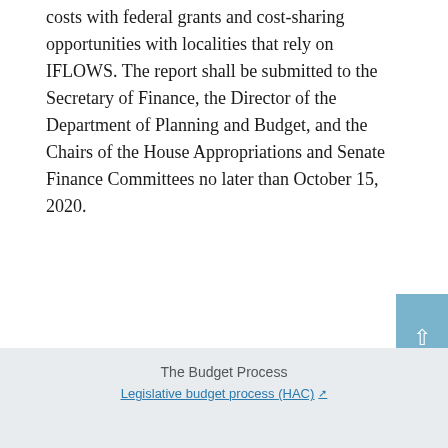costs with federal grants and cost-sharing opportunities with localities that rely on IFLOWS. The report shall be submitted to the Secretary of Finance, the Director of the Department of Planning and Budget, and the Chairs of the House Appropriations and Senate Finance Committees no later than October 15, 2020.
← Item →
The Budget Process
Legislative budget process (HAC) ↗